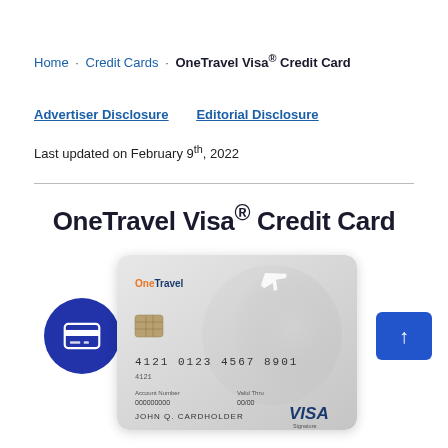Home · Credit Cards · OneTravel Visa® Credit Card
Advertiser Disclosure    Editorial Disclosure
Last updated on February 9th, 2022
OneTravel Visa® Credit Card
[Figure (photo): OneTravel Visa Signature credit card image showing card number 4121 0123 4567 8901, cardholder name JOHN Q. CARDHOLDER, with OneTravel logo and VISA Signature branding]